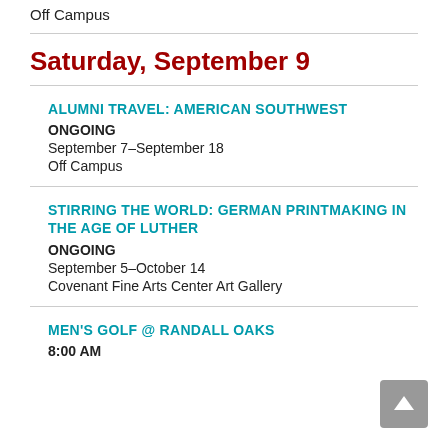Off Campus
Saturday, September 9
ALUMNI TRAVEL: AMERICAN SOUTHWEST
ONGOING
September 7–September 18
Off Campus
STIRRING THE WORLD: GERMAN PRINTMAKING IN THE AGE OF LUTHER
ONGOING
September 5–October 14
Covenant Fine Arts Center Art Gallery
MEN'S GOLF @ RANDALL OAKS
8:00 AM